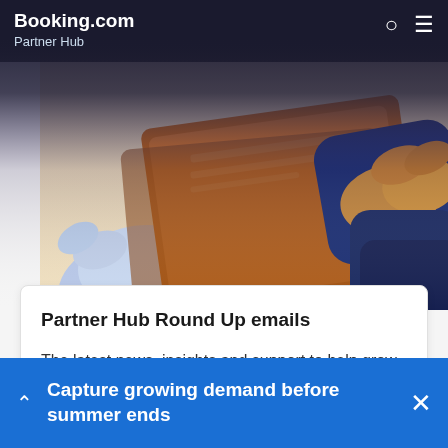Booking.com Partner Hub
[Figure (illustration): Illustrated hands exchanging or handling orange/brown envelope/package documents, with warm beige background. Decorative illustration for newsletter signup.]
Partner Hub Round Up emails
The latest news, insights and support to help grow your business – straight to your inbox.
Sign up
Capture growing demand before summer ends